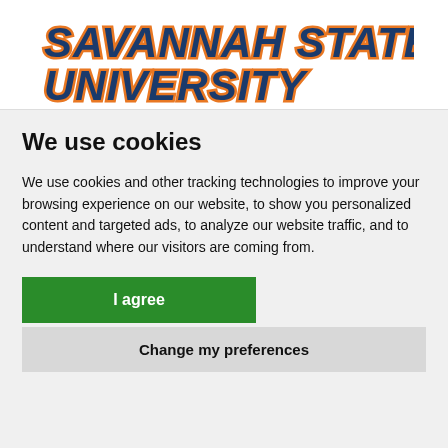[Figure (logo): Savannah State University logo with blue and orange stylized italic text reading SAVANNAH STATE UNIVERSITY]
We use cookies
We use cookies and other tracking technologies to improve your browsing experience on our website, to show you personalized content and targeted ads, to analyze our website traffic, and to understand where our visitors are coming from.
I agree
Change my preferences